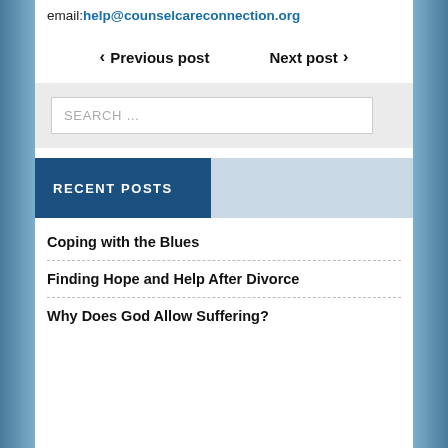email: help@counselcareconnection.org
◀ Previous post   Next post ▶
SEARCH …
RECENT POSTS
Coping with the Blues
Finding Hope and Help After Divorce
Why Does God Allow Suffering?